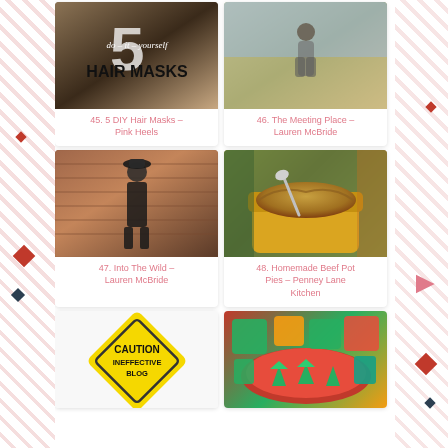[Figure (photo): 5 DIY Hair Masks image with large number 5 and text 'do-it-yourself HAIR MASKS']
45. 5 DIY Hair Masks - Pink Heels
[Figure (photo): Woman standing outdoors in a field wearing a cozy outfit - The Meeting Place]
46. The Meeting Place - Lauren McBride
[Figure (photo): Woman posing against a brick wall wearing dark overalls and a hat - Into The Wild]
47. Into The Wild - Lauren McBride
[Figure (photo): Homemade beef pot pie in a yellow cast iron dish being served with a spoon]
48. Homemade Beef Pot Pies - Penney Lane Kitchen
[Figure (photo): Yellow caution sign diamond shape with text CAUTION INEFFECTIVE BLOG]
[Figure (photo): Christmas themed food snacks on a red plate arranged decoratively]